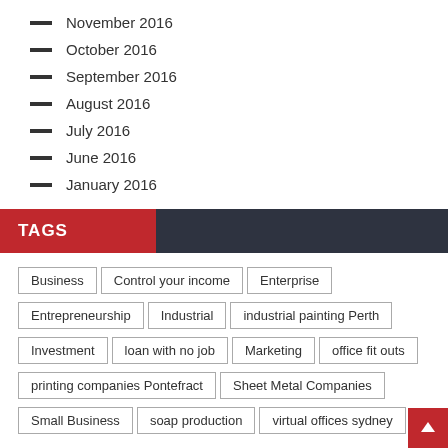November 2016
October 2016
September 2016
August 2016
July 2016
June 2016
January 2016
TAGS
Business
Control your income
Enterprise
Entrepreneurship
Industrial
industrial painting Perth
Investment
loan with no job
Marketing
office fit outs
printing companies Pontefract
Sheet Metal Companies
Small Business
soap production
virtual offices sydney